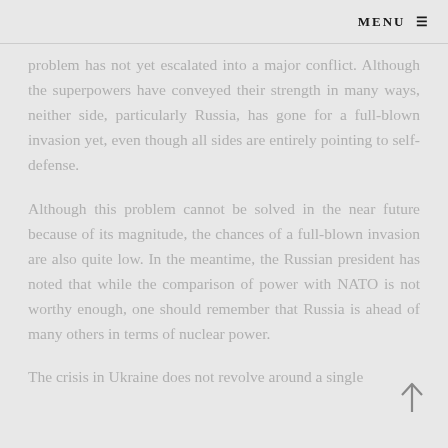MENU ≡
problem has not yet escalated into a major conflict. Although the superpowers have conveyed their strength in many ways, neither side, particularly Russia, has gone for a full-blown invasion yet, even though all sides are entirely pointing to self-defense.
Although this problem cannot be solved in the near future because of its magnitude, the chances of a full-blown invasion are also quite low. In the meantime, the Russian president has noted that while the comparison of power with NATO is not worthy enough, one should remember that Russia is ahead of many others in terms of nuclear power.
The crisis in Ukraine does not revolve around a single